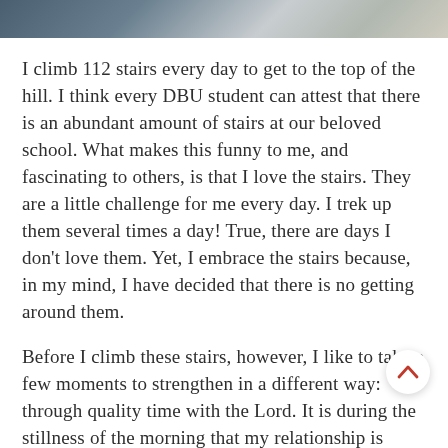[Figure (photo): Partial photo of a person, cropped at the top of the page, showing upper body area with casual clothing and light/striped fabric.]
I climb 112 stairs every day to get to the top of the hill. I think every DBU student can attest that there is an abundant amount of stairs at our beloved school. What makes this funny to me, and fascinating to others, is that I love the stairs. They are a little challenge for me every day. I trek up them several times a day! True, there are days I don't love them. Yet, I embrace the stairs because, in my mind, I have decided that there is no getting around them.
Before I climb these stairs, however, I like to take a few moments to strengthen in a different way: through quality time with the Lord. It is dur the stillness of the morning that my relationship is renewed with Him. He is the only One Who